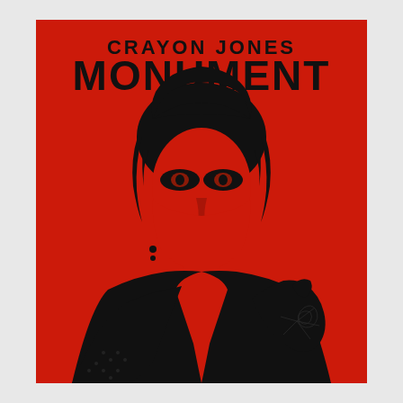[Figure (illustration): Album cover for 'Monument' by Crayon Jones. Red background with a high-contrast black graphic silhouette of a person with dramatic eye makeup, dark hair, wearing a choker necklace and dark jacket. The text 'CRAYON JONES' appears at the top in a stylized gothic/metal font, and 'MONUMENT' appears below it in a larger stylized font.]